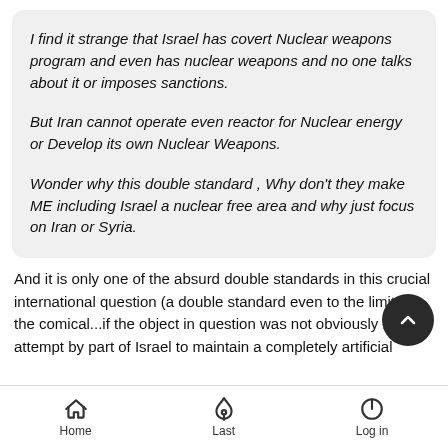I find it strange that Israel has covert Nuclear weapons program and even has nuclear weapons and no one talks about it or imposes sanctions.

But Iran cannot operate even reactor for Nuclear energy or Develop its own Nuclear Weapons.

Wonder why this double standard , Why don't they make ME including Israel a nuclear free area and why just focus on Iran or Syria.
And it is only one of the absurd double standards in this crucial international question (a double standard even to the limit of the comical...if the object in question was not obviously linked attempt by part of Israel to maintain a completely artificial
Home    Last    Log in